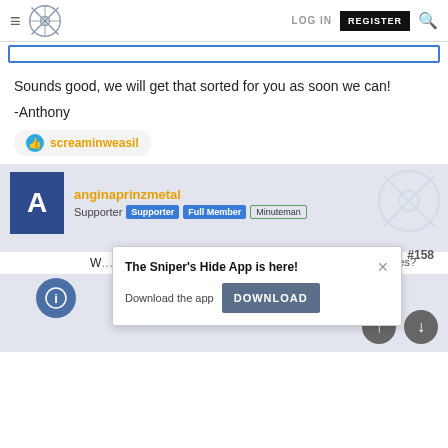LOG IN  REGISTER
Sounds good, we will get that sorted for you as soon we can!
-Anthony
screaminweasil
anginaprinzmetal
Supporter  Supporter  Full Member  Minuteman
#158
[Figure (screenshot): Popup dialog: The Sniper's Hide App is here! Download the app [DOWNLOAD button]]